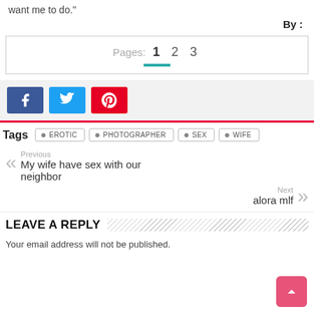want me to do."
By :
Pages:  1  2  3
[Figure (other): Social share buttons: Facebook, Twitter, Pinterest]
Tags  EROTIC  PHOTOGRAPHER  SEX  WIFE
Previous
My wife have sex with our neighbor
Next
alora mlf
LEAVE A REPLY
Your email address will not be published.